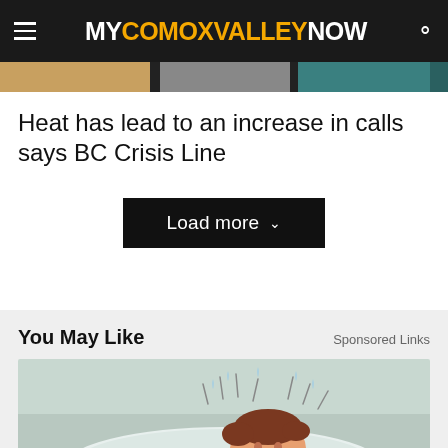MY COMOX VALLEY NOW
[Figure (photo): Partial image strip showing article thumbnail images]
Heat has lead to an increase in calls says BC Crisis Line
Load more ˅
You May Like    Sponsored Links
[Figure (illustration): Cartoon illustration of a man sweating while lying on a pillow, showing heat discomfort]